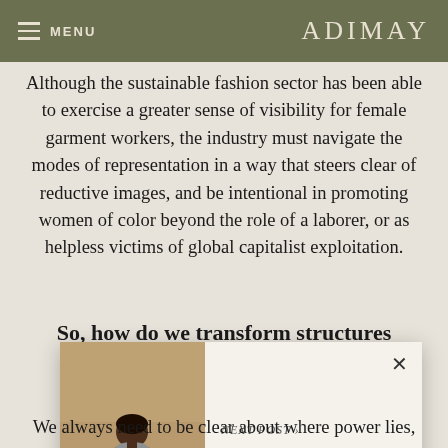MENU | ADIMAY
Although the sustainable fashion sector has been able to exercise a greater sense of visibility for female garment workers, the industry must navigate the modes of representation in a way that steers clear of reductive images, and be intentional in promoting women of color beyond the role of a laborer, or as helpless victims of global capitalist exploitation.
So, how do we transform structures of pow… Inten…
[Figure (photo): Popup overlay showing a next post preview. Contains a photo of a woman in a rocky outdoor setting wearing a grey outfit, with text 'NEXT POST >' and 'PAR EN PAR: RESORT AS A STATE OF MIND' beside it, and an X close button.]
We always need to be clear about where power lies,